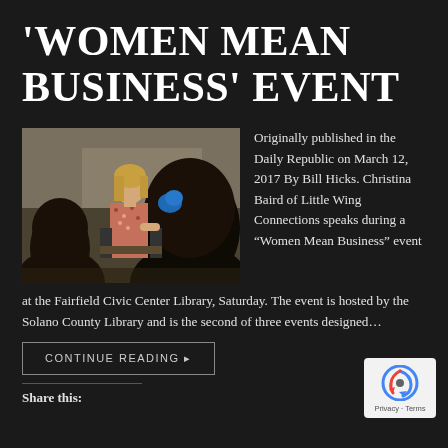'WOMEN MEAN BUSINESS' EVENT
[Figure (photo): A woman with blonde hair speaking at the front of a room, photographed from behind two audience members with dark hair. The speaker appears to be at an event in a library or meeting room setting.]
Originally published in the Daily Republic on March 12, 2017 By Bill Hicks. Christina Baird of Little Wing Connections speaks during a “Women Mean Business” event at the Fairfield Civic Center Library, Saturday. The event is hosted by the Solano County Library and is the second of three events designed…
CONTINUE READING ▸
Share this: